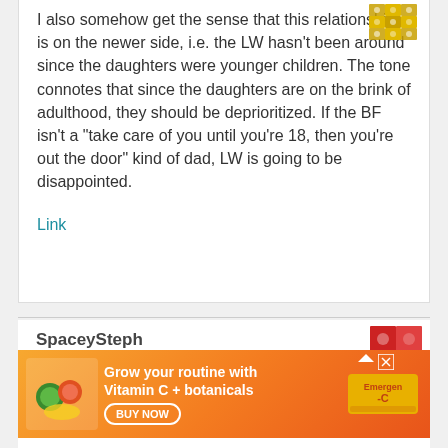I also somehow get the sense that this relationship is on the newer side, i.e. the LW hasn't been around since the daughters were younger children. The tone connotes that since the daughters are on the brink of adulthood, they should be deprioritized. If the BF isn't a "take care of you until you're 18, then you're out the door" kind of dad, LW is going to be disappointed.
Link
SpaceySteph
Oh g...
[Figure (other): Gold decorative diamond/snowflake pattern avatar in top right of comment box]
[Figure (other): Red and pink decorative diamond pattern avatar next to second commenter SpaceySteph]
[Figure (other): Advertisement banner for Emergen-C vitamins: 'Grow your routine with Vitamin C + botanicals' with BUY NOW button and product images]